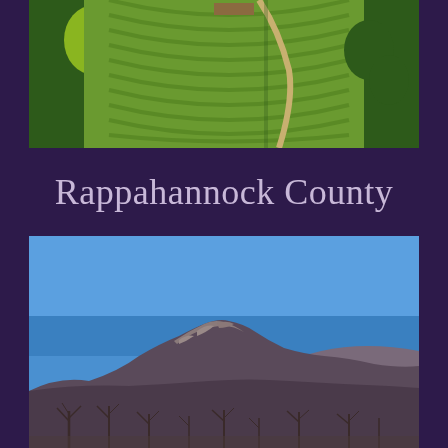[Figure (photo): Aerial photograph of green vineyard or agricultural fields with curved driveway and trees, viewed from above]
Rappahannock County
[Figure (photo): Photograph of a rocky mountain peak against a clear blue sky with bare winter trees in the foreground, in Rappahannock County Virginia]